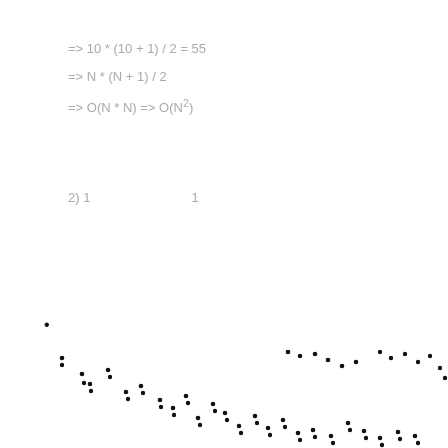2) 1                         1
•
[Figure (scatter-plot): Dense scatter plot of black dots distributed across the lower portion of the page, showing a general downward-right to upper-left spread pattern with many points clustered in the middle region.]